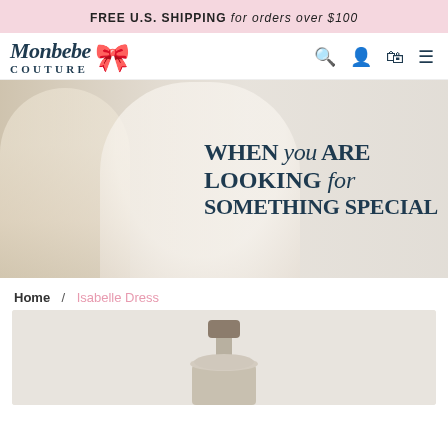FREE U.S. SHIPPING for orders over $100
[Figure (logo): Monbebe Couture logo with cursive script and pink dress icon]
[Figure (photo): Hero banner with two children posing, overlay text: WHEN you ARE LOOKING for SOMETHING SPECIAL]
Home / Isabelle Dress
[Figure (photo): Product image showing a dress mannequin stand on light grey background]